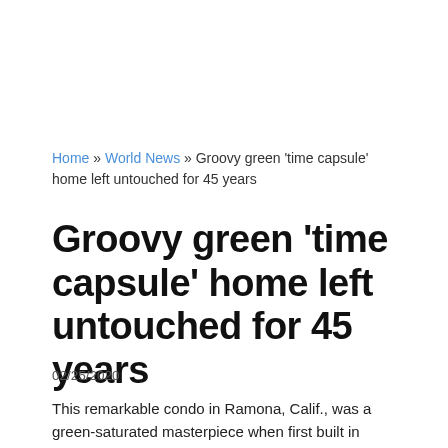Home » World News » Groovy green 'time capsule' home left untouched for 45 years
Groovy green 'time capsule' home left untouched for 45 years
02/25/2020
This remarkable condo in Ramona, Calif., was a green-saturated masterpiece when first built in 1974.